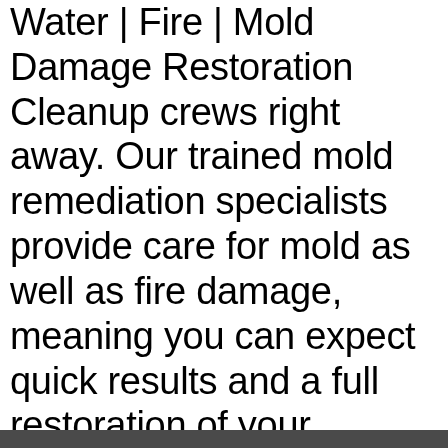Water | Fire | Mold Damage Restoration Cleanup crews right away. Our trained mold remediation specialists provide care for mold as well as fire damage, meaning you can expect quick results and a full restoration of your property in a timely fashion. Mold poses serious health risks when left untreated for an extended period of time and you can rest assured that our crews are fully certified in their mold remediation techniques and protocols before they begin working for you. Request an Estimate Today! We service the greater Clarksburg West Virginia area.